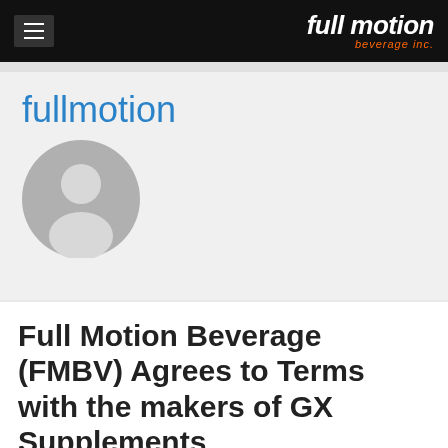full motion beverage inc.
fullmotion
[Figure (illustration): Default gray avatar/profile placeholder icon showing a generic person silhouette (head and shoulders) on a circular gray background]
Full Motion Beverage (FMBV) Agrees to Terms with the makers of GX Supplements